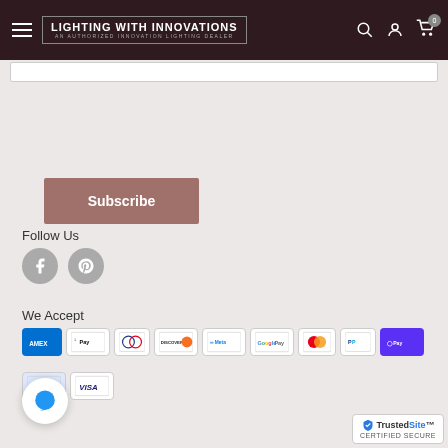Lighting With Innovations — An Authorized Innovation Lighting Dealer
[Figure (screenshot): Subscribe button with muted rose/brown background color]
Follow Us
[Figure (illustration): Social media icons: Facebook and Pinterest, grey circles]
We Accept
[Figure (illustration): Payment method icons: Amex, Apple Pay, Diners Club, Discover, Meta Pay, Google Pay, Mastercard, PayPal, Shop Pay, Visa]
[Figure (logo): TrustedSite Certified Secure badge]
[Figure (illustration): Chat bubble icon, circular button]